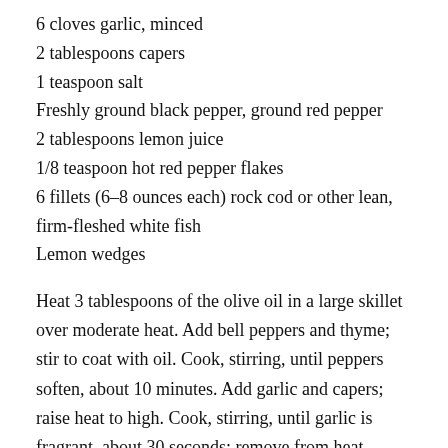6 cloves garlic, minced
2 tablespoons capers
1 teaspoon salt
Freshly ground black pepper, ground red pepper
2 tablespoons lemon juice
1/8 teaspoon hot red pepper flakes
6 fillets (6–8 ounces each) rock cod or other lean, firm-fleshed white fish
Lemon wedges
Heat 3 tablespoons of the olive oil in a large skillet over moderate heat. Add bell peppers and thyme; stir to coat with oil. Cook, stirring, until peppers soften, about 10 minutes. Add garlic and capers; raise heat to high. Cook, stirring, until garlic is fragrant, about 30 seconds; remove from heat. Season with 1/2 teaspoon of the salt and black and red peppers to taste; set aside.